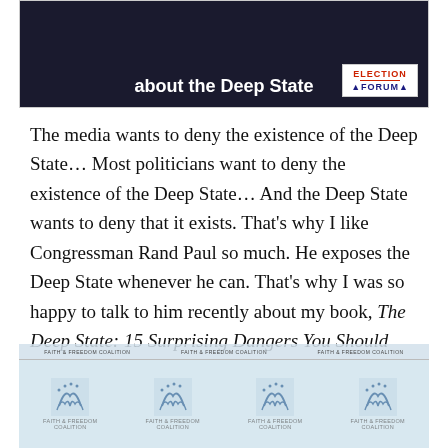[Figure (photo): Dark background image with white bold text reading 'about the Deep State' and an 'Election Forum' logo badge in the lower right corner.]
The media wants to deny the existence of the Deep State… Most politicians want to deny the existence of the Deep State… And the Deep State wants to deny that it exists. That's why I like Congressman Rand Paul so much. He exposes the Deep State whenever he can. That's why I was so happy to talk to him recently about my book, The Deep State: 15 Surprising Dangers You Should Know.
[Figure (photo): Repeating banner with Faith & Freedom Coalition logos and text on a light blue background.]